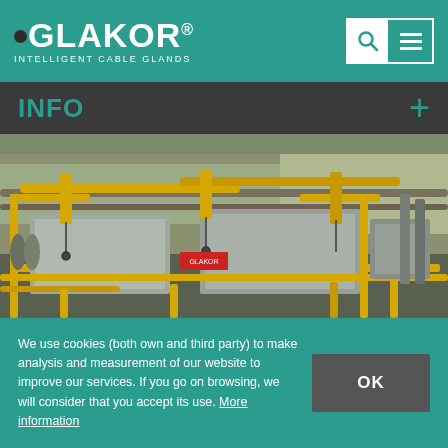GLAKOR® INTELLIGENT CABLE GLANDS
INFO
[Figure (photo): Industrial equipment in a facility: gray box-shaped machines with yellow crane arms/hooks overhead, pipes and industrial infrastructure in background.]
We use cookies (both own and third party) to make analysis and measurement of our website to improve our services. If you go on browsing, we will consider that you accept its use. More information